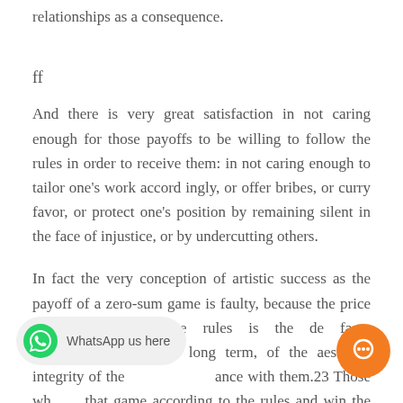relationships as a consequence.
ff
And there is very great satisfaction in not caring enough for those payoffs to be willing to follow the rules in order to receive them: in not caring enough to tailor one's work accordingly, or offer bribes, or curry favor, or protect one's position by remaining silent in the face of injustice, or by undercutting others.
In fact the very conception of artistic success as the payoff of a zero-sum game is faulty, because the price of playing by those rules is the de facto deterioration, over the long term, of the aesthetic integrity of the ance with them.23 Those who play that game according to the rules and win the perquisites